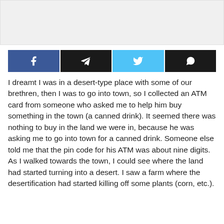[Figure (other): Grey image placeholder area at top of page]
[Figure (other): Social share buttons row: Facebook (blue), Telegram (black), Twitter (light blue), WhatsApp (black)]
I dreamt I was in a desert-type place with some of our brethren, then I was to go into town, so I collected an ATM card from someone who asked me to help him buy something in the town (a canned drink). It seemed there was nothing to buy in the land we were in, because he was asking me to go into town for a canned drink. Someone else told me that the pin code for his ATM was about nine digits. As I walked towards the town, I could see where the land had started turning into a desert. I saw a farm where the desertification had started killing off some plants (corn, etc.).